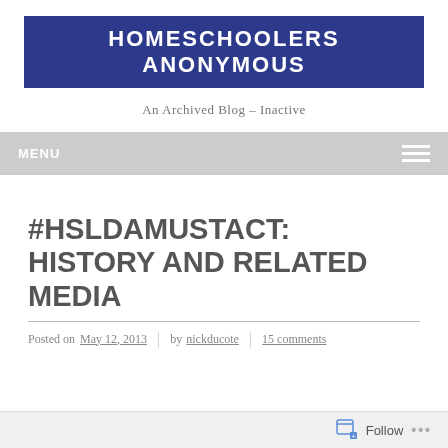HOMESCHOOLERS ANONYMOUS
An Archived Blog – Inactive
#HSLDAMUSTACT: HISTORY AND RELATED MEDIA
Posted on May 12, 2013 | by nickducote | 15 comments